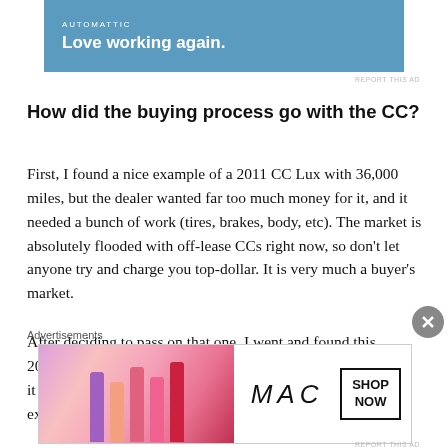[Figure (other): Automattic advertisement banner with blue background, text 'AUTOMATTIC' and 'Love working again.']
How did the buying process go with the CC?
First, I found a nice example of a 2011 CC Lux with 36,000 miles, but the dealer wanted far too much money for it, and it needed a bunch of work (tires, brakes, body, etc). The market is absolutely flooded with off-lease CCs right now, so don't let anyone try and charge you top-dollar. It is very much a buyer's market.
After deciding to pass on that one, I went and found this 2012 CC Sport at another local dealer. It had 41,000 miles on it with new brake pads/rotors, new front tires, and the expensive 40k
Advertisements
[Figure (other): MAC Cosmetics advertisement banner with lipstick tubes and 'SHOP NOW' button]